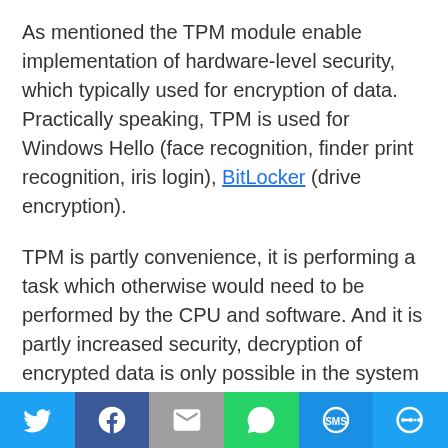As mentioned the TPM module enable implementation of hardware-level security, which typically used for encryption of data. Practically speaking, TPM is used for Windows Hello (face recognition, finder print recognition, iris login), BitLocker (drive encryption).
TPM is partly convenience, it is performing a task which otherwise would need to be performed by the CPU and software. And it is partly increased security, decryption of encrypted data is only possible in the system itself (containing the TPM
[Figure (other): Social sharing bar with icons for Twitter, Facebook, Email, WhatsApp, SMS, and More]